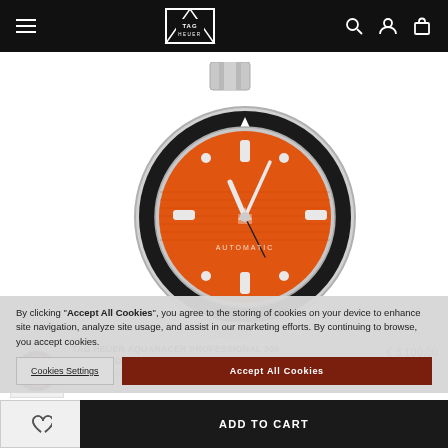TAG HEUER navigation bar
[Figure (photo): TAG Heuer Aquaracer Professional 300 Orange Diver watch with stainless steel bracelet, black rotating bezel, and vivid orange dial, photographed on white background]
By clicking "Accept All Cookies", you agree to the storing of cookies on your device to enhance site navigation, analyze site usage, and assist in our marketing efforts. By continuing to browse, you accept cookies.
Cookies Settings
Accept All Cookies
TAG HEUER AQUARACER PROFESSIONAL 300 ORANGE DIVER
Automatic Watch
€ 3.100,00
ADD TO CART